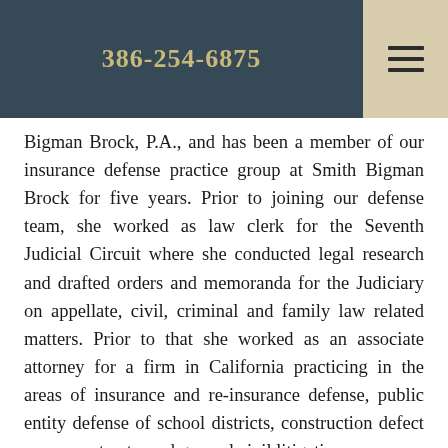386-254-6875
Bigman Brock, P.A., and has been a member of our insurance defense practice group at Smith Bigman Brock for five years. Prior to joining our defense team, she worked as law clerk for the Seventh Judicial Circuit where she conducted legal research and drafted orders and memoranda for the Judiciary on appellate, civil, criminal and family law related matters. Prior to that she worked as an associate attorney for a firm in California practicing in the areas of insurance and re-insurance defense, public entity defense of school districts, construction defect cases, contracts, and general civil litigation.
Ms. Myers graduated from the University of Virginia with a Bachelor's degree in Religious Studies and